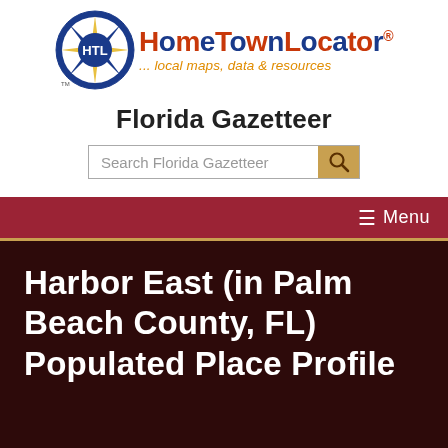[Figure (logo): HomeTownLocator logo with compass rose circle and brand name]
Florida Gazetteer
[Figure (other): Search Florida Gazetteer input box with magnifying glass button]
≡ Menu
Harbor East (in Palm Beach County, FL) Populated Place Profile